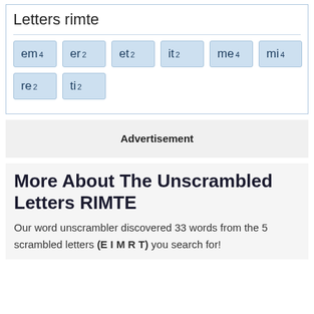Letters rimte
em 4
er 2
et 2
it 2
me 4
mi 4
re 2
ti 2
Advertisement
More About The Unscrambled Letters RIMTE
Our word unscrambler discovered 33 words from the 5 scrambled letters (E I M R T) you search for!